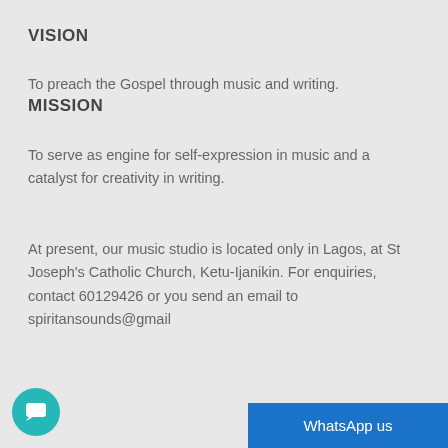VISION
To preach the Gospel through music and writing.
MISSION
To serve as engine for self-expression in music and a catalyst for creativity in writing.
At present, our music studio is located only in Lagos, at St Joseph's Catholic Church, Ketu-Ijanikin. For enquiries, contact 60129426 or you send an email to spiritansounds@gmail